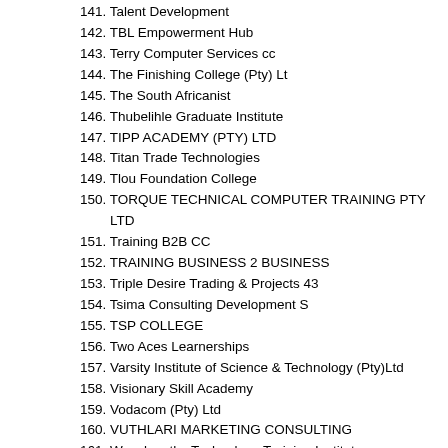141. Talent Development
142. TBL Empowerment Hub
143. Terry Computer Services cc
144. The Finishing College (Pty) Lt
145. The South Africanist
146. Thubelihle Graduate Institute
147. TIPP ACADEMY (PTY) LTD
148. Titan Trade Technologies
149. Tlou Foundation College
150. TORQUE TECHNICAL COMPUTER TRAINING PTY LTD
151. Training B2B CC
152. TRAINING BUSINESS 2 BUSINESS
153. Triple Desire Trading & Projects 43
154. Tsima Consulting Development S
155. TSP COLLEGE
156. Two Aces Learnerships
157. Varsity Institute of Science & Technology (Pty)Ltd
158. Visionary Skill Academy
159. Vodacom (Pty) Ltd
160. VUTHLARI MARKETING CONSULTING
161. Wavelengths Technology Training Institute
162. We Think Code
163. Wellinkwise Pty Ltd
164. Whitestone College
165. Woosh Consultants (Pty) Ltd
166. WORK SKILLS RESOURCES CC